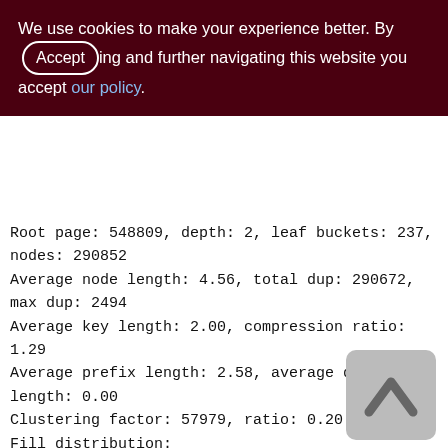We use cookies to make your experience better. By accepting and further navigating this website you accept our policy.
Root page: 548809, depth: 2, leaf buckets: 237, nodes: 290852
Average node length: 4.56, total dup: 290672, max dup: 2494
Average key length: 2.00, compression ratio: 1.29
Average prefix length: 2.58, average data length: 0.00
Clustering factor: 57979, ratio: 0.20
Fill distribution:
0 - 19% = 0
20 - 39% = 0
40 - 59% = 105